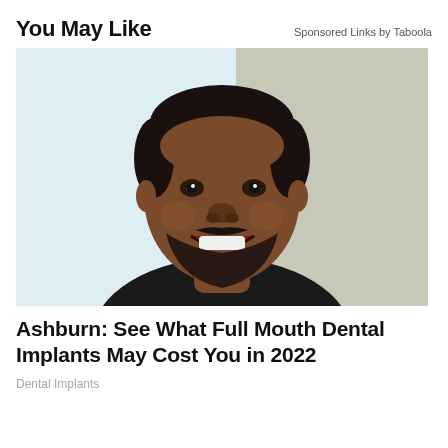You May Like
Sponsored Links by Taboola
[Figure (photo): A smiling Black man with short hair and a beard, wearing a black shirt, photographed against a light background. He is showing his teeth in a wide smile.]
Ashburn: See What Full Mouth Dental Implants May Cost You in 2022
Dental Implants